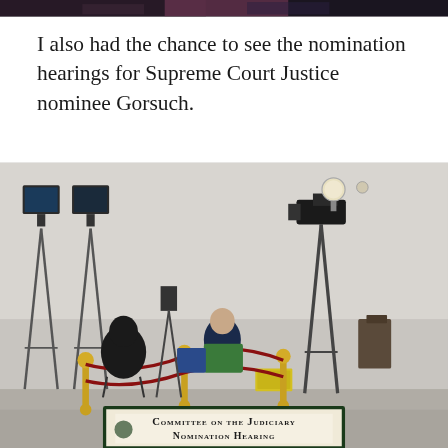[Figure (photo): Top portion of a photo showing people, partially cropped at the top of the page]
I also had the chance to see the nomination hearings for Supreme Court Justice nominee Gorsuch.
[Figure (photo): Photo of a hallway or room outside a hearing room with TV cameras and equipment on tripods, two people seated, a velvet rope barrier, and a sign at the bottom reading 'Committee on the Judiciary Nomination Hearing']